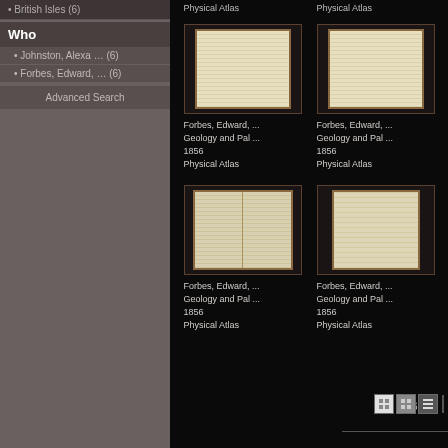• British Isles (6)
Who
• Johnston, Alexa … (6)
• Forbes, Edward, … (6)
Advanced Search
[Figure (screenshot): Thumbnail of a Physical Atlas page, open book with text columns]
Forbes, Edward, ...
Geology and Pal ...
1856
Physical Atlas
[Figure (screenshot): Thumbnail of a Physical Atlas page showing tabular text]
Forbes, Edward, ...
Geology and Pal ...
1856
Physical Atlas
[Figure (screenshot): Thumbnail of a Physical Atlas page, open book spread]
Forbes, Edward, ...
Geology and Pal ...
1856
Physical Atlas
[Figure (screenshot): Thumbnail of a Physical Atlas page with text layout]
Forbes, Edward, ...
Geology and Pal ...
1856
Physical Atlas
1-6 of 6